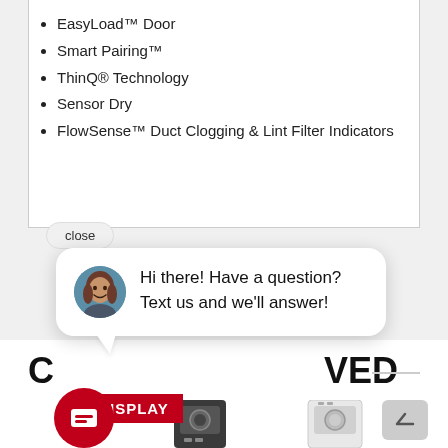EasyLoad™ Door
Smart Pairing™
ThinQ® Technology
Sensor Dry
FlowSense™ Duct Clogging & Lint Filter Indicators
close
Hi there! Have a question? Text us and we'll answer!
C…VED
ISPLAY
[Figure (screenshot): Appliance product thumbnail - dark colored top-load washer/dryer]
[Figure (screenshot): Appliance product thumbnail - white top-load washer]